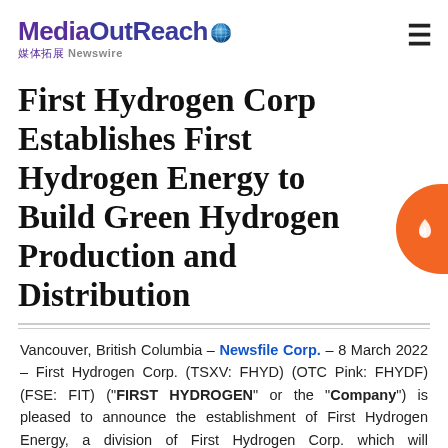MediaOutReach 媒体拓展 Newswire
First Hydrogen Corp Establishes First Hydrogen Energy to Build Green Hydrogen Production and Distribution
Vancouver, British Columbia – Newsfile Corp. – 8 March 2022 – First Hydrogen Corp. (TSXV: FHYD) (OTC Pink: FHYDF) (FSE: FIT) ("FIRST HYDROGEN" or the "Company") is pleased to announce the establishment of First Hydrogen Energy, a division of First Hydrogen Corp. which will consolidate and lead the Group's business in the production and distribution of green hydrogen.